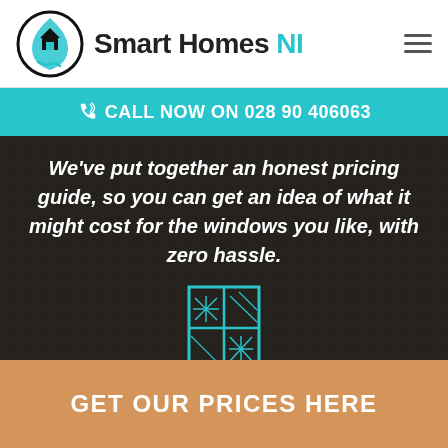[Figure (logo): Smart Homes NI logo with circular house/water drop icon and text]
CALL NOW ON 028 90 406063
We've put together an honest pricing guide, so you can get an idea of what it might cost for the windows you like, with zero hassle.
[Figure (illustration): Teal outline icon of a decorative window with star/diamond patterns]
GET OUR PRICES HERE